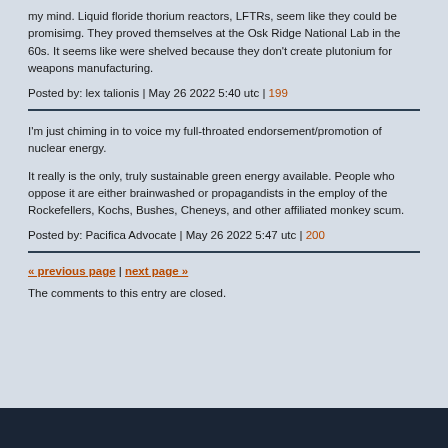my mind. Liquid floride thorium reactors, LFTRs, seem like they could be promisimg. They proved themselves at the Osk Ridge National Lab in the 60s. It seems like were shelved because they don't create plutonium for weapons manufacturing.
Posted by: lex talionis | May 26 2022 5:40 utc | 199
I'm just chiming in to voice my full-throated endorsement/promotion of nuclear energy.
It really is the only, truly sustainable green energy available. People who oppose it are either brainwashed or propagandists in the employ of the Rockefellers, Kochs, Bushes, Cheneys, and other affiliated monkey scum.
Posted by: Pacifica Advocate | May 26 2022 5:47 utc | 200
« previous page | next page »
The comments to this entry are closed.